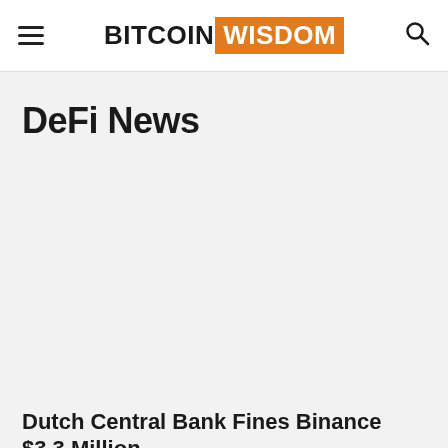BITCOINWISDOM
DeFi News
Dutch Central Bank Fines Binance $3.3 Million